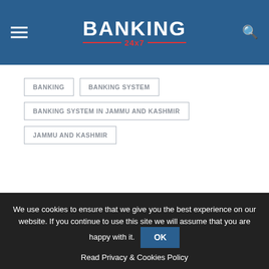[Figure (logo): Banking 24x7 logo with white text on blue background header with hamburger menu and search icon]
BANKING
BANKING SYSTEM
BANKING SYSTEM IN JAMMU AND KASHMIR
JAMMU AND KASHMIR
We use cookies to ensure that we give you the best experience on our website. If you continue to use this site we will assume that you are happy with it. OK
Read Privacy & Cookies Policy